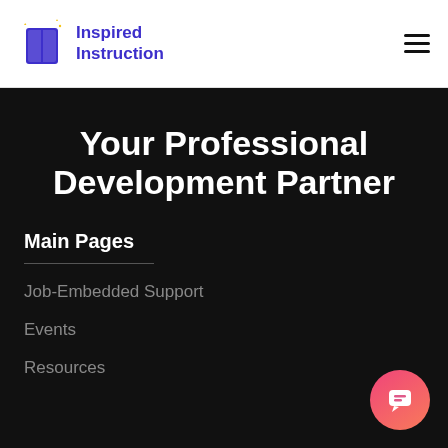Inspired Instruction
Your Professional Development Partner
Main Pages
Job-Embedded Support
Events
Resources